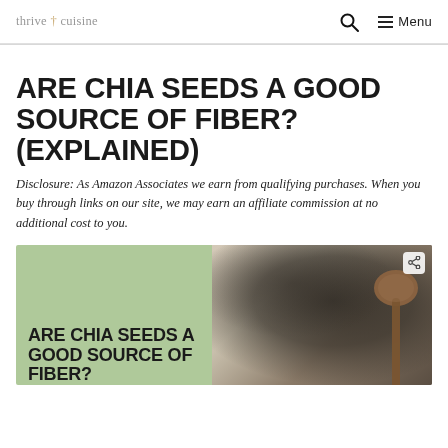thrive cuisine — Search Menu
ARE CHIA SEEDS A GOOD SOURCE OF FIBER? (EXPLAINED)
Disclosure: As Amazon Associates we earn from qualifying purchases. When you buy through links on our site, we may earn an affiliate commission at no additional cost to you.
[Figure (photo): Feature image split into two panels: left side has sage-green background with bold text 'ARE CHIA SEEDS A GOOD SOURCE OF FIBER?' and right side shows a close-up photograph of chia seeds piled on a wooden spoon against a light background.]